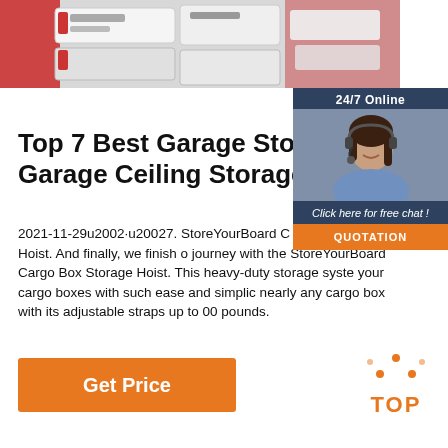[Figure (photo): Close-up photo of red and white garage storage boxes/trays arranged in a shelf system]
[Figure (infographic): 24/7 Online chat widget with a woman wearing a headset, blue/dark background, 'Click here for free chat!' text and orange QUOTATION button]
Top 7 Best Garage Storage Li Garage Ceiling Storage Lift
2021-11-29u2002·u20027. StoreYourBoard C Ceiling Storage Hoist. And finally, we finish o journey with the StoreYourBoard Cargo Box Storage Hoist. This heavy-duty storage syste your cargo boxes with such ease and simplid nearly any cargo box with its adjustable straps up to 00 pounds.
[Figure (logo): TOP logo with orange dot triangle above the word TOP in orange]
Get Price